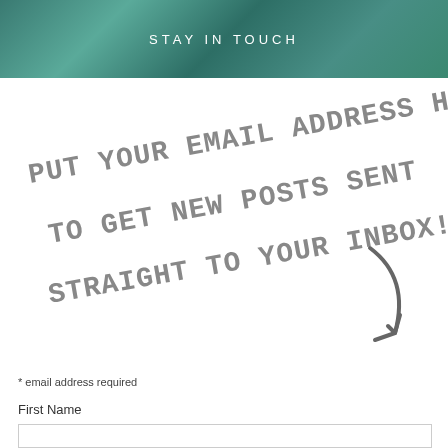STAY IN TOUCH
[Figure (illustration): Handwritten-style gray text on white background reading 'PUT YOUR EMAIL ADDRESS HERE TO GET NEW POSTS SENT STRAIGHT TO YOUR INBOX!' with a hand-drawn curved arrow pointing downward to the right]
* email address required
First Name